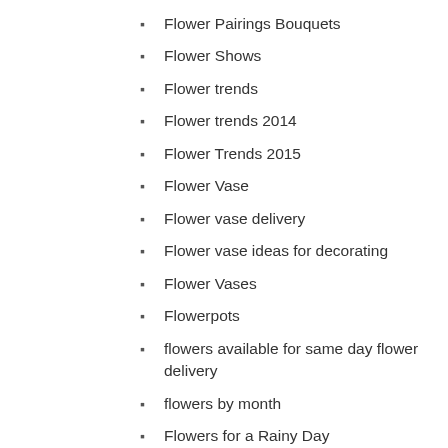Flower Pairings Bouquets
Flower Shows
Flower trends
Flower trends 2014
Flower Trends 2015
Flower Vase
Flower vase delivery
Flower vase ideas for decorating
Flower Vases
Flowerpots
flowers available for same day flower delivery
flowers by month
Flowers for a Rainy Day
Flowers for Health and Happiness
Flowers for men delivery
Flowers for Personal Thanks